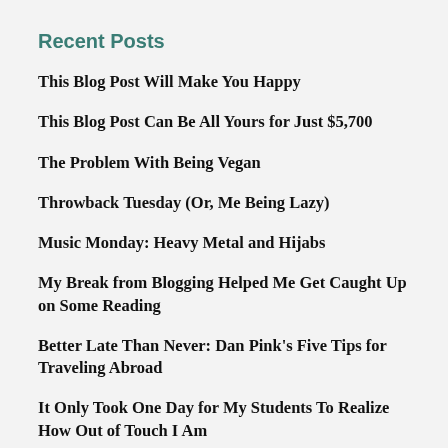Recent Posts
This Blog Post Will Make You Happy
This Blog Post Can Be All Yours for Just $5,700
The Problem With Being Vegan
Throwback Tuesday (Or, Me Being Lazy)
Music Monday: Heavy Metal and Hijabs
My Break from Blogging Helped Me Get Caught Up on Some Reading
Better Late Than Never: Dan Pink's Five Tips for Traveling Abroad
It Only Took One Day for My Students To Realize How Out of Touch I Am